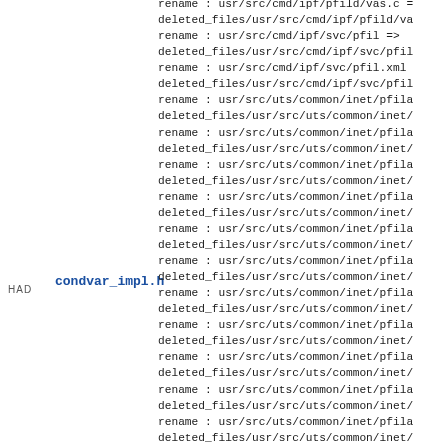HAD
condvar_impl.h
rename : usr/src/cmd/ipf/pfild/vas.c =>
deleted_files/usr/src/cmd/ipf/pfild/va
rename : usr/src/cmd/ipf/svc/pfil =>
deleted_files/usr/src/cmd/ipf/svc/pfil
rename : usr/src/cmd/ipf/svc/pfil.xml
deleted_files/usr/src/cmd/ipf/svc/pfil
rename : usr/src/uts/common/inet/pfila
deleted_files/usr/src/uts/common/inet/
rename : usr/src/uts/common/inet/pfila
deleted_files/usr/src/uts/common/inet/
rename : usr/src/uts/common/inet/pfila
deleted_files/usr/src/uts/common/inet/
rename : usr/src/uts/common/inet/pfila
deleted_files/usr/src/uts/common/inet/
rename : usr/src/uts/common/inet/pfila
deleted_files/usr/src/uts/common/inet/
rename : usr/src/uts/common/inet/pfila
deleted_files/usr/src/uts/common/inet/
rename : usr/src/uts/common/inet/pfila
deleted_files/usr/src/uts/common/inet/
rename : usr/src/uts/common/inet/pfila
deleted_files/usr/src/uts/common/inet/
rename : usr/src/uts/common/inet/pfila
deleted_files/usr/src/uts/common/inet/
rename : usr/src/uts/common/inet/pfila
deleted_files/usr/src/uts/common/inet/
rename : usr/src/uts/common/inet/pfila
deleted_files/usr/src/uts/common/inet/
rename : usr/src/uts/common/inet/pfil